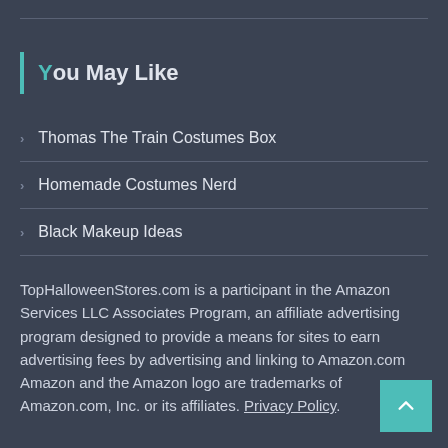You May Like
Thomas The Train Costumes Box
Homemade Costumes Nerd
Black Makeup Ideas
TopHalloweenStores.com is a participant in the Amazon Services LLC Associates Program, an affiliate advertising program designed to provide a means for sites to earn advertising fees by advertising and linking to Amazon.com Amazon and the Amazon logo are trademarks of Amazon.com, Inc. or its affiliates. Privacy Policy.